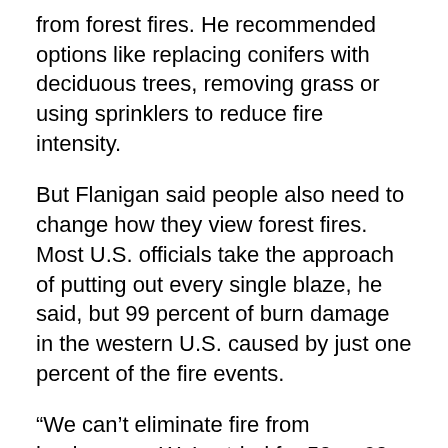from forest fires. He recommended options like replacing conifers with deciduous trees, removing grass or using sprinklers to reduce fire intensity.
But Flanigan said people also need to change how they view forest fires. Most U.S. officials take the approach of putting out every single blaze, he said, but 99 percent of burn damage in the western U.S. caused by just one percent of the fire events.
“We can’t eliminate fire from landscapes. We’ve tried for 50 or 60 years, and how’s that going?” Flanigan said. Williams agreed, saying our country’s philosophy is to react rather than to be proactive.
“We wait for fire to get started, and then we try our best to fight it off. And every year to do that, we totally exhaust the forest service’s budget,” Williams